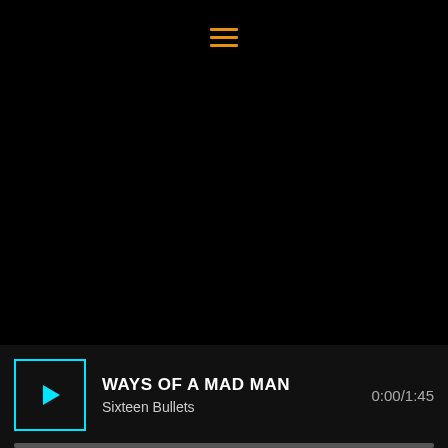[Figure (screenshot): Music player UI screenshot on black background with hamburger menu icon at top center in orange, and a media player bar at the bottom showing a cyan-bordered play button, track title 'WAYS OF A MAD MAN', artist 'Sixteen Bullets', time '0:00/1:45', and a progress bar]
WAYS OF A MAD MAN
Sixteen Bullets
0:00/1:45